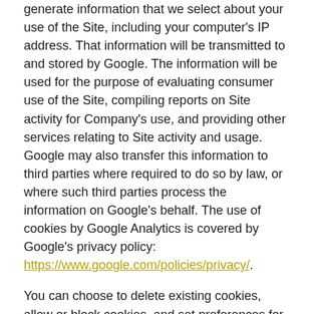generate information that we select about your use of the Site, including your computer's IP address. That information will be transmitted to and stored by Google. The information will be used for the purpose of evaluating consumer use of the Site, compiling reports on Site activity for Company's use, and providing other services relating to Site activity and usage. Google may also transfer this information to third parties where required to do so by law, or where such third parties process the information on Google's behalf. The use of cookies by Google Analytics is covered by Google's privacy policy: https://www.google.com/policies/privacy/.
You can choose to delete existing cookies, allow or block cookies, and set preferences for certain websites in your browser's settings. Please note you may not be able to use the full functionality of the Site if you choose to block all cookies.